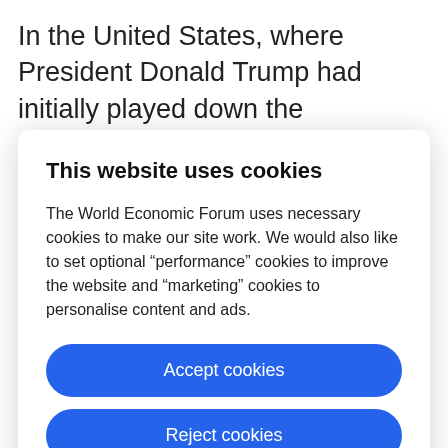In the United States, where President Donald Trump had initially played down the coronavirus threat, infections surged with over 11,500 known cases and at
This website uses cookies
The World Economic Forum uses necessary cookies to make our site work. We would also like to set optional “performance” cookies to improve the website and “marketing” cookies to personalise content and ads.
Accept cookies
Reject cookies
Cookie settings